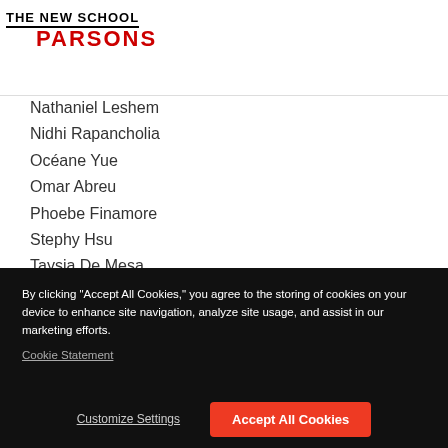THE NEW SCHOOL PARSONS
Nathaniel Leshem
Nidhi Rapancholia
Océane Yue
Omar Abreu
Phoebe Finamore
Stephy Hsu
Taysia De Mesa
Theo Telonis
Victoria Wang
Wangshu Wu
By clicking "Accept All Cookies," you agree to the storing of cookies on your device to enhance site navigation, analyze site usage, and assist in our marketing efforts.
Cookie Statement
Customize Settings
Accept All Cookies